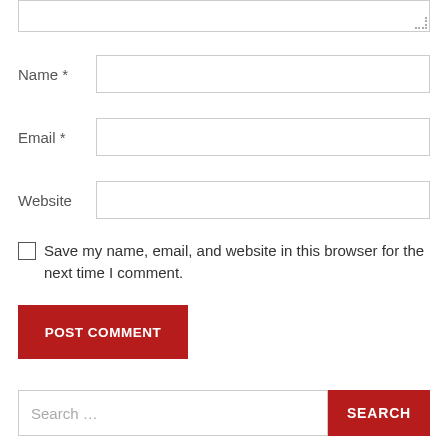[Figure (screenshot): Partial text area input field at the top of the page with resize handle]
Name *
Email *
Website
Save my name, email, and website in this browser for the next time I comment.
POST COMMENT
Search ...
SEARCH